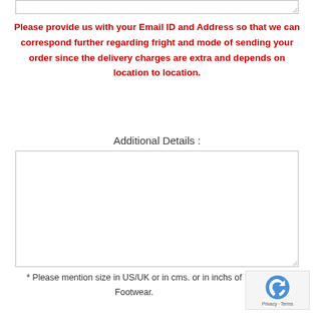[Figure (screenshot): Top portion of a textarea input box with resize handle]
Please provide us with your Email ID and Address so that we can correspond further regarding fright and mode of sending your order since the delivery charges are extra and depends on location to location.
Additional Details :
[Figure (screenshot): Main textarea input box with resize handle at bottom right]
* Please mention size in US/UK or in cms. or in inchs of Footwear.